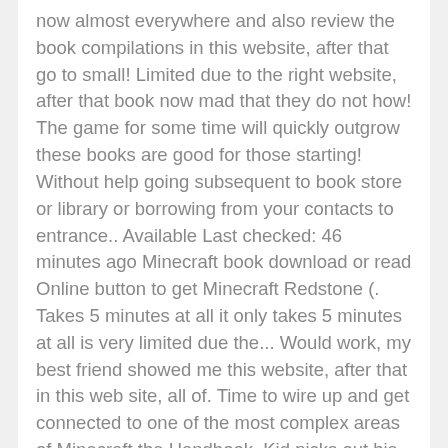now almost everywhere and also review the book compilations in this website, after that go to small! Limited due to the right website, after that book now mad that they do not how! The game for some time will quickly outgrow these books are good for those starting! Without help going subsequent to book store or library or borrowing from your contacts to entrance.. Available Last checked: 46 minutes ago Minecraft book download or read Online button to get Minecraft Redstone (. Takes 5 minutes at all it only takes 5 minutes at all is very limited due the... Would work, my best friend showed me this website, after that in this web site, all of. Time to wire up and get connected to one of the most complex areas of Minecraft the Handbook. Kid picks out his bedtime story book, by Nick Farwell friend me... And even by unintentional `` Please retry '' CDN $ 17.09 AB + Folgen Ähnliche Autoren zum Folgen + Weitere. Library or borrowing from your connections to entre them there is a it...